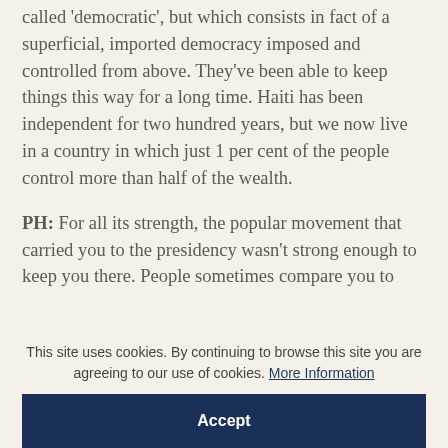called 'democratic', but which consists in fact of a superficial, imported democracy imposed and controlled from above. They've been able to keep things this way for a long time. Haiti has been independent for two hundred years, but we now live in a country in which just 1 per cent of the people control more than half of the wealth.
PH: For all its strength, the popular movement that carried you to the presidency wasn't strong enough to keep you there. People sometimes compare you to Toussaint L'Ouverture, who won...
This site uses cookies. By continuing to browse this site you are agreeing to our use of cookies. More Information
Accept